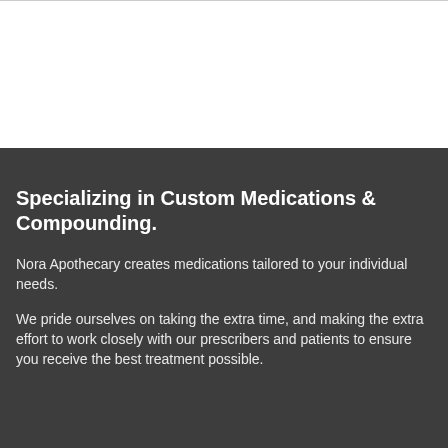Specializing in Custom Medications & Compounding.
Nora Apothecary creates medications tailored to your individual needs.
We pride ourselves on taking the extra time, and making the extra effort to work closely with our prescribers and patients to ensure you receive the best treatment possible.